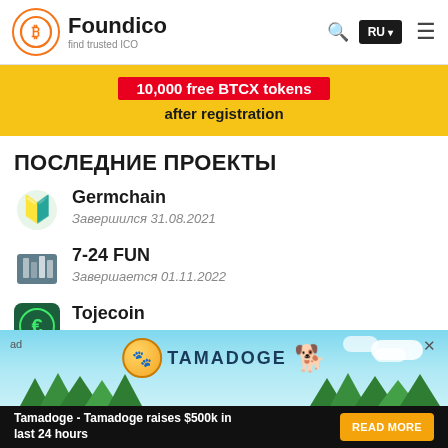Foundico - find trusted ICO
[Figure (screenshot): Foundico website header with logo, search icon, RU language button, and hamburger menu]
[Figure (infographic): Yellow promotional banner: 10,000 free BTCX tokens after registration]
ПОСЛЕДНИЕ ПРОЕКТЫ
Germchain
Завершился 31.08.2021
7-24 FUN
Завершается 01.11.2022
Tojecoin
Завершается 31.12.2022
Tokens NSH
[Figure (infographic): Tamadoge ad banner: Tamadoge raises $500k in last 24 hours. READ MORE button.]